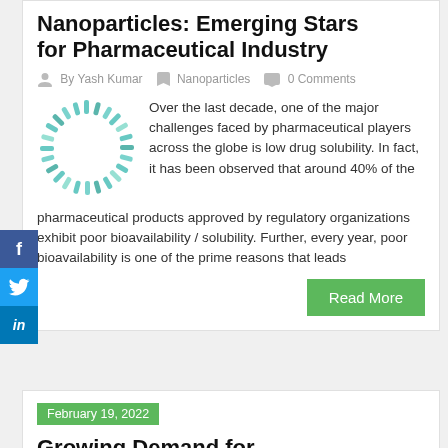Nanoparticles: Emerging Stars for Pharmaceutical Industry
By Yash Kumar   Nanoparticles   0 Comments
[Figure (illustration): Circular arrangement of nanoparticle/DNA strand icons forming a ring shape]
Over the last decade, one of the major challenges faced by pharmaceutical players across the globe is low drug solubility. In fact, it has been observed that around 40% of the pharmaceutical products approved by regulatory organizations exhibit poor bioavailability / solubility. Further, every year, poor bioavailability is one of the prime reasons that leads
Read More
February 19, 2022
Growing Demand for Oligonucleotides Proposes Shedload of Opportunities for